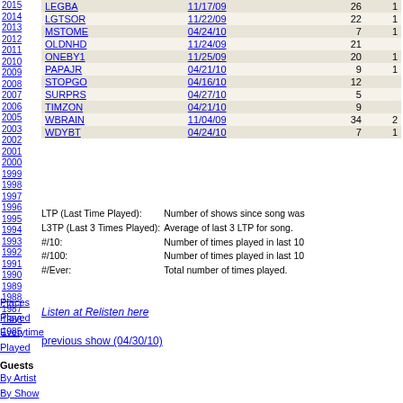2015 2014 2013 2012 2011 2010 2009 2008 2007 2006 2005 2003 2002 2001 2000 1999 1998 1997 1996 1995 1994 1993 1992 1991 1990 1989 1988 1987 1986 1985
| Song | LTP | #/10 | #/100 |
| --- | --- | --- | --- |
| LEGBA | 11/17/09 | 26 | 1 |
| LGTSOR | 11/22/09 | 22 | 1 |
| MSTOME | 04/24/10 | 7 | 1 |
| OLDNHD | 11/24/09 | 21 |  |
| ONEBY1 | 11/25/09 | 20 | 1 |
| PAPAJR | 04/21/10 | 9 | 1 |
| STOPGO | 04/16/10 | 12 |  |
| SURPRS | 04/27/10 | 5 |  |
| TIMZON | 04/21/10 | 9 |  |
| WBRAIN | 11/04/09 | 34 | 2 |
| WDYBT | 04/24/10 | 7 | 1 |
LTP (Last Time Played): Number of shows since song was played. L3TP (Last 3 Times Played): Average of last 3 LTP for song. #/10: Number of times played in last 10 shows. #/100: Number of times played in last 100 shows. #/Ever: Total number of times played.
Listen at Relisten here
previous show (04/30/10)
Places Played
Everytime Played
Guests
By Artist
By Show
Stats
Brief Overview
Stats Main Menu